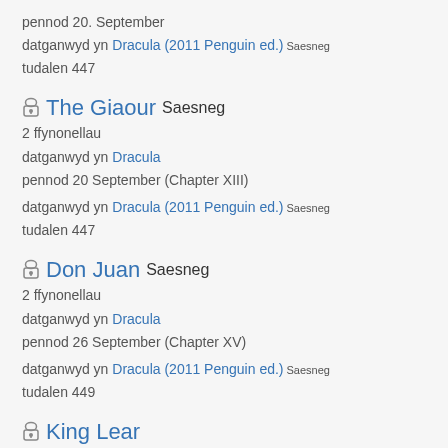pennod 20. September
datganwyd yn Dracula (2011 Penguin ed.) Saesneg
tudalen 447
The Giaour Saesneg
2 ffynonellau
datganwyd yn Dracula
pennod 20 September (Chapter XIII)
datganwyd yn Dracula (2011 Penguin ed.) Saesneg
tudalen 447
Don Juan Saesneg
2 ffynonellau
datganwyd yn Dracula
pennod 26 September (Chapter XV)
datganwyd yn Dracula (2011 Penguin ed.) Saesneg
tudalen 449
King Lear
2 ffynonellau